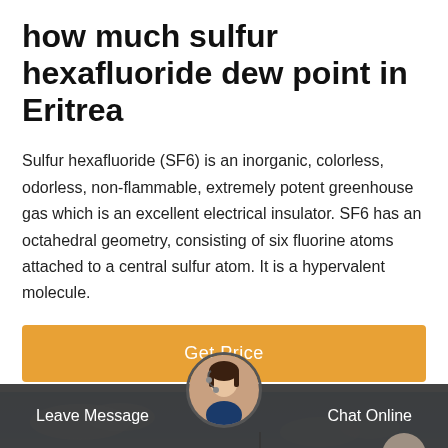how much sulfur hexafluoride dew point in Eritrea
Sulfur hexafluoride (SF6) is an inorganic, colorless, odorless, non-flammable, extremely potent greenhouse gas which is an excellent electrical insulator. SF6 has an octahedral geometry, consisting of six fluorine atoms attached to a central sulfur atom. It is a hypervalent molecule.
[Figure (other): Orange/yellow button labeled Get Price]
[Figure (photo): Photo of electrical power transmission tower (pylon) against a blue sky, blurred/out of focus]
Leave Message   Chat Online